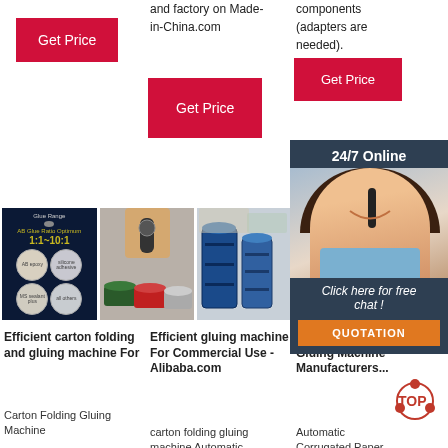and factory on Made-in-China.com
components (adapters are needed).
[Figure (other): Red 'Get Price' button, column 1]
[Figure (other): Red 'Get Price' button, column 2]
[Figure (other): Red 'Get Price' button, column 3]
[Figure (other): Product image 1: dark blue background showing AB glue ratio 1:1~10:1 with circular product photos]
[Figure (photo): Product image 2: hand testing glue samples in colored containers]
[Figure (photo): Product image 3: blue barrels/drums storage]
[Figure (infographic): 24/7 Online chat widget with female agent wearing headset, Click here for free chat, QUOTATION button]
Efficient carton folding and gluing machine For
Carton Folding Gluing Machine
Efficient gluing machine For Commercial Use - Alibaba.com
carton folding gluing machine Automatic
China Machine, Gluing Machine Manufacturers...
Automatic Corrugated Paper